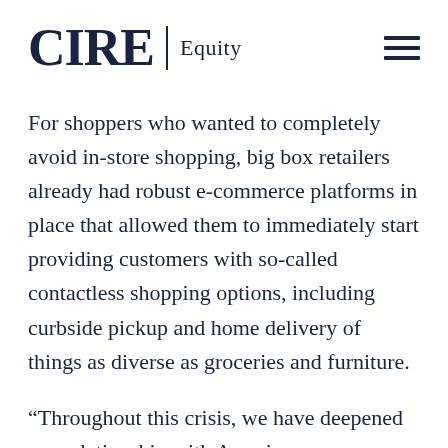CIRE Equity
For shoppers who wanted to completely avoid in-store shopping, big box retailers already had robust e-commerce platforms in place that allowed them to immediately start providing customers with so-called contactless shopping options, including curbside pickup and home delivery of things as diverse as groceries and furniture.
“Throughout this crisis, we have deepened our relationship with American consumers and introduced millions of them to our digital